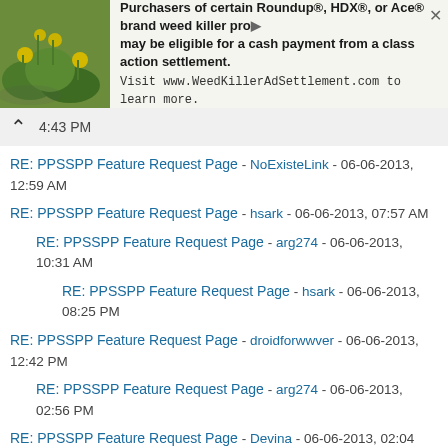[Figure (advertisement): Banner ad for WeedKillerAdSettlement.com with flower photo on left and text about Roundup, HDX, Ace brand weed killer settlement cash payment.]
RE: PPSSPP Feature Request Page - SystemInfo - 06-06-2013, 4:43 PM
RE: PPSSPP Feature Request Page - NoExisteLink - 06-06-2013, 12:59 AM
RE: PPSSPP Feature Request Page - hsark - 06-06-2013, 07:57 AM
RE: PPSSPP Feature Request Page - arg274 - 06-06-2013, 10:31 AM
RE: PPSSPP Feature Request Page - hsark - 06-06-2013, 08:25 PM
RE: PPSSPP Feature Request Page - droidforwwver - 06-06-2013, 12:42 PM
RE: PPSSPP Feature Request Page - arg274 - 06-06-2013, 02:56 PM
RE: PPSSPP Feature Request Page - Devina - 06-06-2013, 02:04 PM
RE: PPSSPP Feature Request Page - Niyawa - 06-06-2013, 08:22 PM
RE: PPSSPP Feature Request Page - droidforwwver - 06-07-2013, 04:03 AM
RE: PPSSPP Feature Request Page - arg274 - 06-07-2013, 06:27 AM
RE: PPSSPP Feature Request Page - arg274 - 06-08-2013, 06:29 AM
RE: PPSSPP Feature Request Page - xemnas - 06-08-2013, 02:57 PM
RE: PPSSPP Feature Request Page - arg274 - 06-08-2013, 03:22